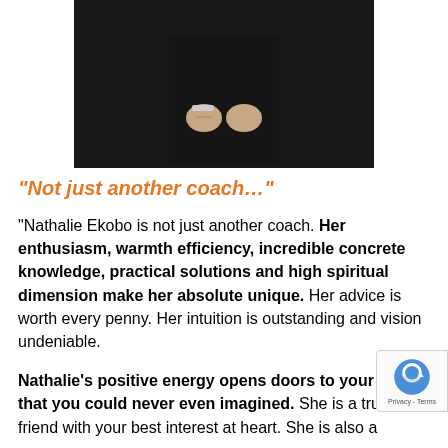[Figure (photo): Partial photo of a person wearing a dark knit top with arms crossed/folded, showing wrists and a bracelet, cropped at the top of the page]
“Not just another coach…”
“Nathalie Ekobo is not just another coach. Her enthusiasm, warmth efficiency, incredible concrete knowledge, practical solutions and high spiritual dimension make her absolute unique. Her advice is worth every penny. Her intuition is outstanding and vision undeniable.
Nathalie’s positive energy opens doors to your future that you could never even imagined. She is a true friend with your best interest at heart. She is also a